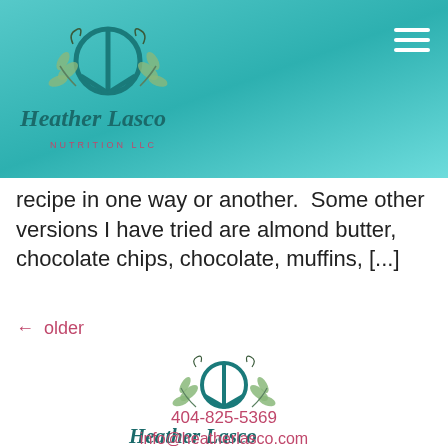[Figure (logo): Heather Lasco Nutrition LLC logo in header with teal background, peace sign, botanical motif, and cursive text]
recipe in one way or another. Some other versions I have tried are almond butter, chocolate chips, chocolate, muffins, [...]
← older
[Figure (logo): Heather Lasco Nutrition LLC logo centered, with teal peace sign, botanical motif, cursive script name, and NUTRITION LLC in pink spaced caps]
404-825-5369
info@heatherlasco.com